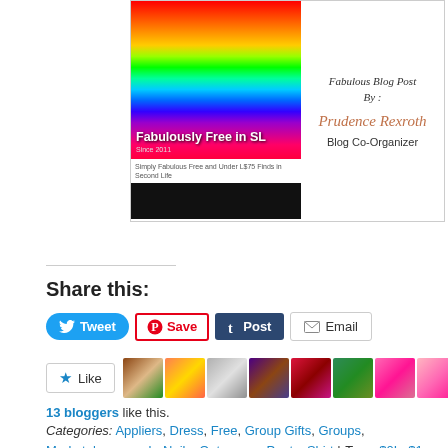[Figure (illustration): Fabulously Free in SL blog banner card showing a rainbow-striped gradient image with white text 'Fabulously Free in SL', tagline 'Simply Fabulous Free and Under L$75 Finds in Second Life', and a black bar at bottom. Right side shows 'Fabulous Blog Post By:' with author name 'Prudence Rexroth' and 'Blog Co-Organizer'.]
Share this:
[Figure (infographic): Social sharing buttons: Tweet (blue rounded), Save (Pinterest red outlined), Post (Tumblr dark blue), Email (gray outlined)]
[Figure (infographic): Like button with star icon and 9 blogger avatar thumbnails]
13 bloggers like this.
Categories: Appliers, Dress, Free, Group Gifts, Groups, Marketplace, mesh, Nails, Outerwear, Pants, Shirt | Tags: $0L, $1 linden, 0 linden, 1L, Banned Booty, belleza, Brazilia, Buzzeri, cheapie, Classic System Layer, Clawtooth,